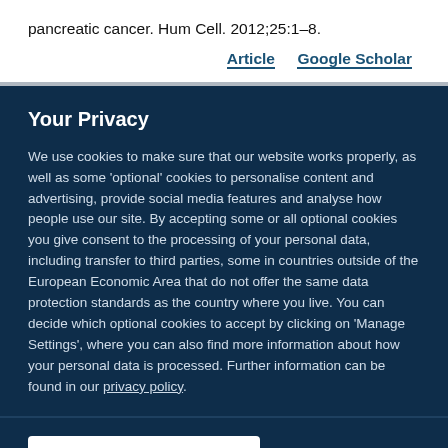pancreatic cancer. Hum Cell. 2012;25:1–8.
Article   Google Scholar
Your Privacy
We use cookies to make sure that our website works properly, as well as some 'optional' cookies to personalise content and advertising, provide social media features and analyse how people use our site. By accepting some or all optional cookies you give consent to the processing of your personal data, including transfer to third parties, some in countries outside of the European Economic Area that do not offer the same data protection standards as the country where you live. You can decide which optional cookies to accept by clicking on 'Manage Settings', where you can also find more information about how your personal data is processed. Further information can be found in our privacy policy.
Accept all cookies
Manage preferences